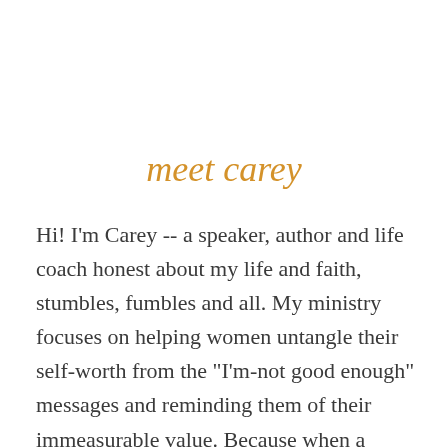meet carey
Hi! I'm Carey -- a speaker, author and life coach honest about my life and faith, stumbles, fumbles and all. My ministry focuses on helping women untangle their self-worth from the "I'm-not good enough" messages and reminding them of their immeasurable value. Because when a woman knows her value, she is freed up to live with purpose and joy.